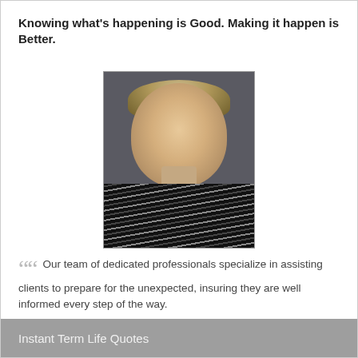Knowing what's happening is Good. Making it happen is Better.
[Figure (photo): Professional headshot of an older man with light hair wearing a striped shirt, against a dark background]
““ Our team of dedicated professionals specialize in assisting clients to prepare for the unexpected, insuring they are well informed every step of the way.
Instant Term Life Quotes